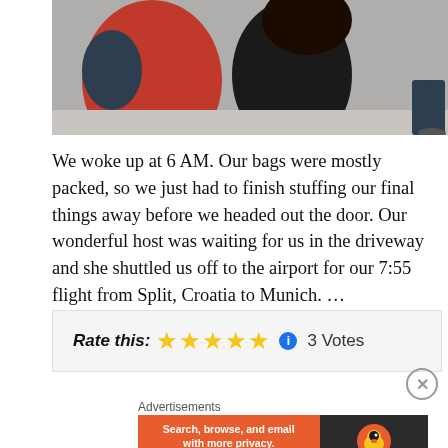[Figure (photo): Cropped photo showing two people, one in a red shirt and one in a black shirt, outdoors]
We woke up at 6 AM. Our bags were mostly packed, so we just had to finish stuffing our final things away before we headed out the door. Our wonderful host was waiting for us in the driveway and she shuttled us off to the airport for our 7:55 flight from Split, Croatia to Munich. ... CONTINUE READING
Rate this: ★★★★★ ℹ 3 Votes
Advertisements
[Figure (screenshot): DuckDuckGo advertisement banner: Search, browse, and email with more privacy. All in One Free App]